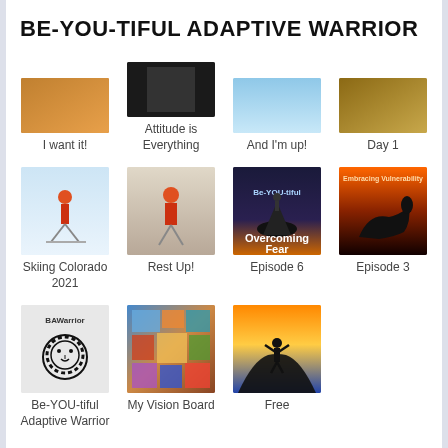BE-YOU-TIFUL ADAPTIVE WARRIOR
[Figure (screenshot): Grid of media thumbnails with captions: Row 1 (partial): I want it!, Attitude is Everything, And I'm up!, Day 1. Row 2: Skiing Colorado 2021, Rest Up!, Episode 6, Episode 3. Row 3: Be-YOU-tiful Adaptive Warrior, My Vision Board, Free.]